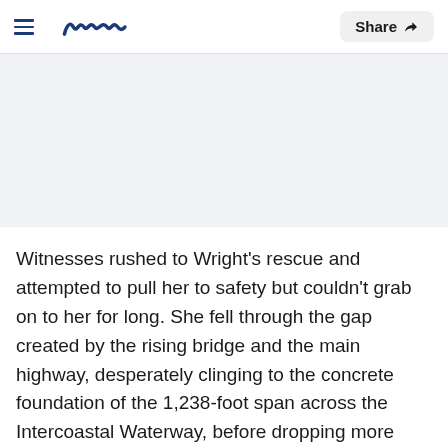Meaww — Share
[Figure (photo): Gray placeholder image area for an article photo]
Witnesses rushed to Wright's rescue and attempted to pull her to safety but couldn't grab on to her for long. She fell through the gap created by the rising bridge and the main highway, desperately clinging to the concrete foundation of the 1,238-foot span across the Intercoastal Waterway, before dropping more than five floors to the concrete base.